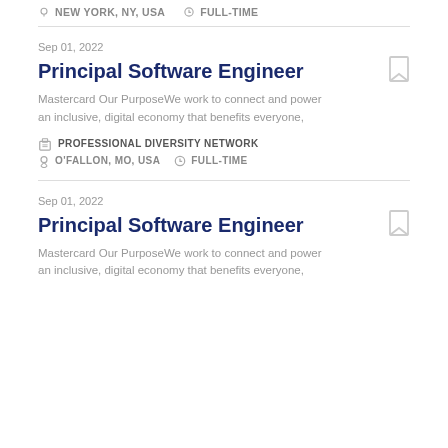NEW YORK, NY, USA   FULL-TIME
Sep 01, 2022
Principal Software Engineer
Mastercard Our PurposeWe work to connect and power an inclusive, digital economy that benefits everyone,
PROFESSIONAL DIVERSITY NETWORK
O'FALLON, MO, USA   FULL-TIME
Sep 01, 2022
Principal Software Engineer
Mastercard Our PurposeWe work to connect and power an inclusive, digital economy that benefits everyone,